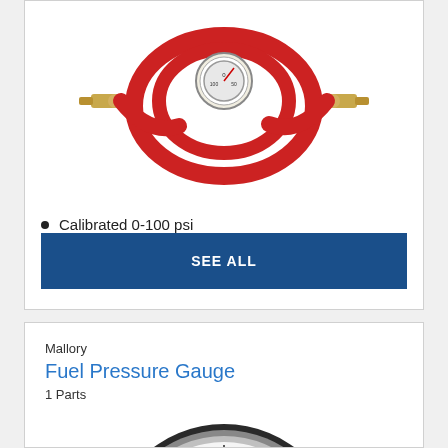[Figure (photo): Pressure gauge with red hose and brass fittings on both ends]
Calibrated 0-100 psi
SEE ALL
Mallory
Fuel Pressure Gauge
1 Parts
[Figure (photo): Mallory brand fuel pressure gauge with white face, black numbers and tick marks, red Mallory logo badge in center, showing scale from 0 to about 15 psi]